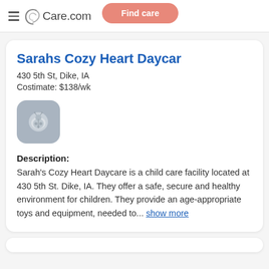Care.com — Find care
Sarahs Cozy Heart Daycar
430 5th St, Dike, IA
Costimate: $138/wk
[Figure (logo): Ladybug icon placeholder on gray rounded square background]
Description:
Sarah's Cozy Heart Daycare is a child care facility located at 430 5th St. Dike, IA. They offer a safe, secure and healthy environment for children. They provide an age-appropriate toys and equipment, needed to... show more